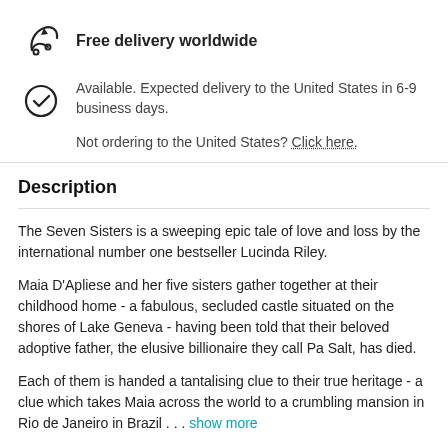Free delivery worldwide
Available. Expected delivery to the United States in 6-9 business days.
Not ordering to the United States? Click here.
Description
The Seven Sisters is a sweeping epic tale of love and loss by the international number one bestseller Lucinda Riley.
Maia D'Apliese and her five sisters gather together at their childhood home - a fabulous, secluded castle situated on the shores of Lake Geneva - having been told that their beloved adoptive father, the elusive billionaire they call Pa Salt, has died.
Each of them is handed a tantalising clue to their true heritage - a clue which takes Maia across the world to a crumbling mansion in Rio de Janeiro in Brazil . . .  show more